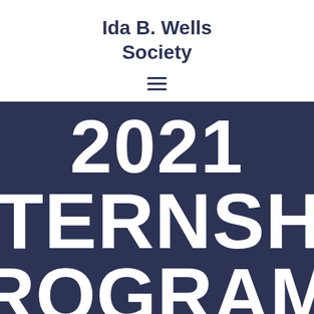Ida B. Wells Society
[Figure (other): Hamburger menu icon with three horizontal lines]
2021 INTERNSHIP PROGRAMS